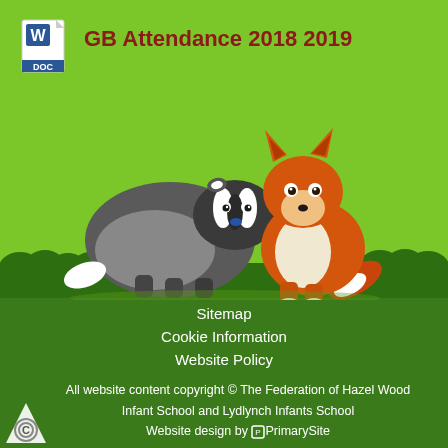[Figure (screenshot): School website page screenshot showing a Word document link titled 'GB Attendance 2018 2019' with a cartoon badger and fox on a green background, footer with sitemap links and copyright notice]
GB Attendance 2018 2019
Sitemap
Cookie Information
Website Policy
All website content copyright © The Federation of Hazel Wood Infant School and Lydlynch Infants School Website design by PrimarySite